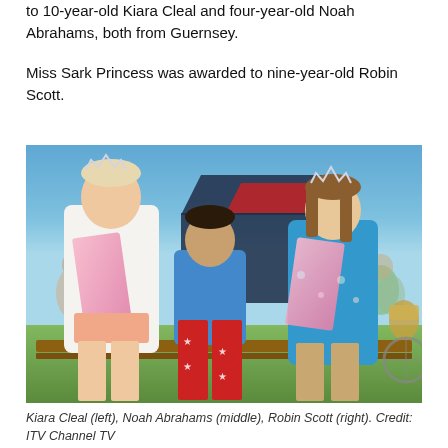to 10-year-old Kiara Cleal and four-year-old Noah Abrahams, both from Guernsey.
Miss Sark Princess was awarded to nine-year-old Robin Scott.
[Figure (photo): Three children sitting on a bench outdoors at a sunny event. Left: a girl wearing a tiara and pink sash reading 'Sark Princess'. Middle: a young boy in a blue t-shirt and red star-print leggings. Right: a girl wearing a tiara, blue floral dress, and a pink sash reading 'Princess 2021'.]
Kiara Cleal (left), Noah Abrahams (middle), Robin Scott (right). Credit: ITV Channel TV